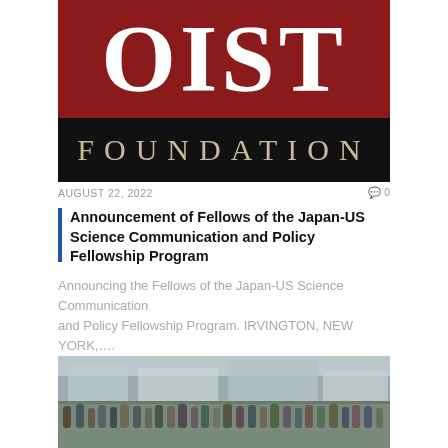[Figure (logo): OIST Foundation logo: red background with large white text 'OIST', black background below with beige text 'FOUNDATION']
AUGUST 22, 2022   0
Announcement of Fellows of the Japan-US Science Communication and Policy Fellowship Program
Announcing the Fellows of the Japan-US Science Communication and Policy Fellowship Program. IRVINGTON, NEW YORK,….
[Figure (photo): Photo of a busy Japanese train station (Akihabara Station) with crowds of people walking outside. A purple banner overlay reads 'JAPAN TRANSPORTATION'.]